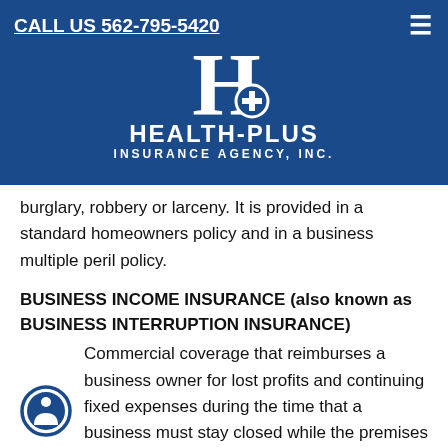CALL US 562-795-5420
[Figure (logo): Health-Plus Insurance Agency, Inc. logo with large H and plus symbol on dark blue background]
burglary, robbery or larceny. It is provided in a standard homeowners policy and in a business multiple peril policy.
BUSINESS INCOME INSURANCE (also known as BUSINESS INTERRUPTION INSURANCE)
Commercial coverage that reimburses a business owner for lost profits and continuing fixed expenses during the time that a business must stay closed while the premises are being restored because of physical damage from a